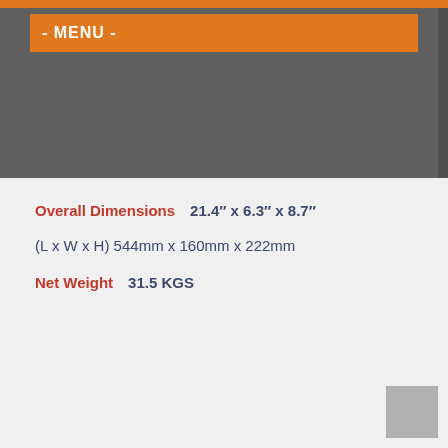- MENU -
Overall Dimensions⇒21.4″ x 6.3″ x 8.7″
(L x W x H) 544mm x 160mm x 222mm
Net Weight⇒31.5 KGS